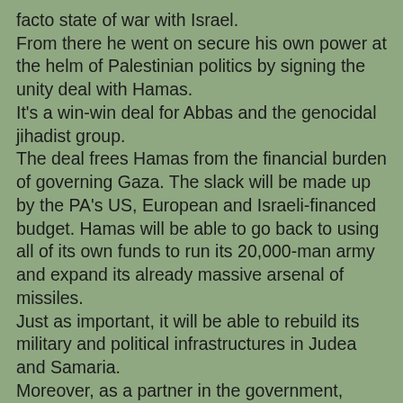facto state of war with Israel. From there he went on secure his own power at the helm of Palestinian politics by signing the unity deal with Hamas. It's a win-win deal for Abbas and the genocidal jihadist group. The deal frees Hamas from the financial burden of governing Gaza. The slack will be made up by the PA's US, European and Israeli-financed budget. Hamas will be able to go back to using all of its own funds to run its 20,000-man army and expand its already massive arsenal of missiles. Just as important, it will be able to rebuild its military and political infrastructures in Judea and Samaria. Moreover, as a partner in the government, Hamas will have veto power over many of the Palestinian Authority's governing decisions, so there will be no negotiations, no recognition, no cessation of terror assaults and no peace with Israel with this Palestinian government. Then again, none of these things was forthcoming with Abbas at the helm at any time. As for Abbas, by signing the deal, he gets to deploy a ceremonial force to Gaza that will enable him to tell willfully credulous Americans that he is now in charge of Gaza, so